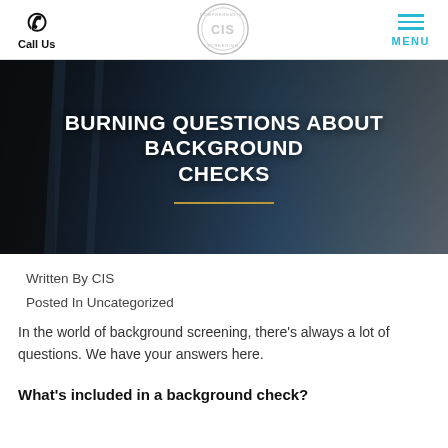Call Us | CIS logo | MENU
[Figure (photo): Hero banner showing denim fabric texture with dark blue and grey tones, with overlaid text 'BURNING QUESTIONS ABOUT BACKGROUND CHECKS' and a gold divider line]
BURNING QUESTIONS ABOUT BACKGROUND CHECKS
Written By CIS
Posted In Uncategorized
In the world of background screening, there's always a lot of questions. We have your answers here.
What's included in a background check?